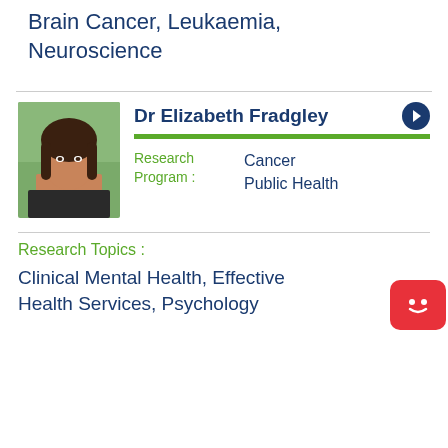Brain Cancer, Leukaemia, Neuroscience
[Figure (photo): Profile photo of Dr Elizabeth Fradgley, a woman with long dark hair outdoors]
Dr Elizabeth Fradgley
Research Program : Cancer Public Health
Research Topics :
Clinical Mental Health, Effective Health Services, Psychology